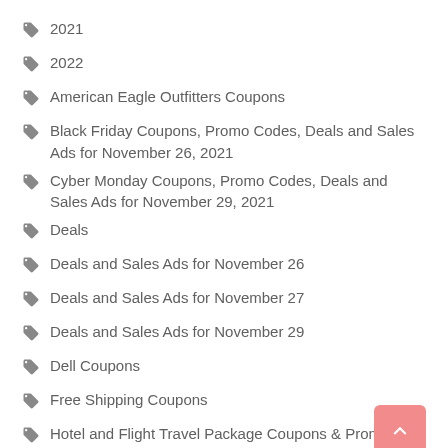2021
2022
American Eagle Outfitters Coupons
Black Friday Coupons, Promo Codes, Deals and Sales Ads for November 26, 2021
Cyber Monday Coupons, Promo Codes, Deals and Sales Ads for November 29, 2021
Deals
Deals and Sales Ads for November 26
Deals and Sales Ads for November 27
Deals and Sales Ads for November 29
Dell Coupons
Free Shipping Coupons
Hotel and Flight Travel Package Coupons & Promo